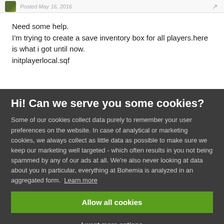Posted May 16, 2016
Need some help.
I'm trying to create a save inventory box for all players.here is what i got until now.
initplayerlocal.sqf
ast = player addAction ["open box"
Hi! Can we serve you some cookies?
Some of our cookies collect data purely to remember your user preferences on the website. In case of analytical or marketing cookies, we always collect as little data as possible to make sure we keep our marketing well targeted - which often results in you not being spammed by any of our ads at all. We're also never looking at data about you in particular, everything at Bohemia is analyzed in an aggregated form. Learn more
Allow all cookies
I want more options